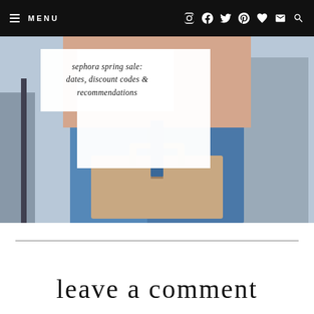≡ MENU  [icons: Instagram, Facebook, Twitter, Pinterest, Heart, Email, Search]
[Figure (photo): Fashion blog photo of a woman from the waist down wearing high-waisted blue jeans and a floral top, holding a nude/tan structured tote handbag. A white overlay card shows the blog post title in italic script.]
sephora spring sale: dates, discount codes & recommendations
leave a comment